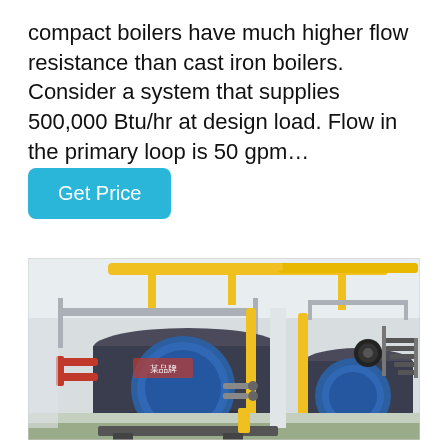compact boilers have much higher flow resistance than cast iron boilers. Consider a system that supplies 500,000 Btu/hr at design load. Flow in the primary loop is 50 gpm…
Get Price
[Figure (photo): Industrial boiler room with large blue cylindrical compact boilers, yellow overhead piping, red pipes, and structural steel platforms and stairs. Two large boiler units visible with associated mechanical equipment.]